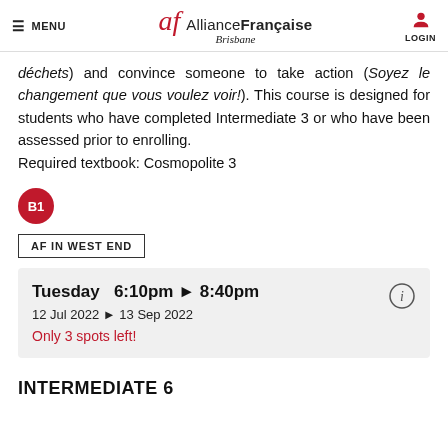MENU | Alliance Française Brisbane | LOGIN
déchets) and convince someone to take action (Soyez le changement que vous voulez voir!). This course is designed for students who have completed Intermediate 3 or who have been assessed prior to enrolling. Required textbook: Cosmopolite 3
[Figure (other): B1 level badge - red circle with white B1 text]
AF IN WEST END
Tuesday 6:10pm ▶ 8:40pm
12 Jul 2022 ▶ 13 Sep 2022
Only 3 spots left!
INTERMEDIATE 6